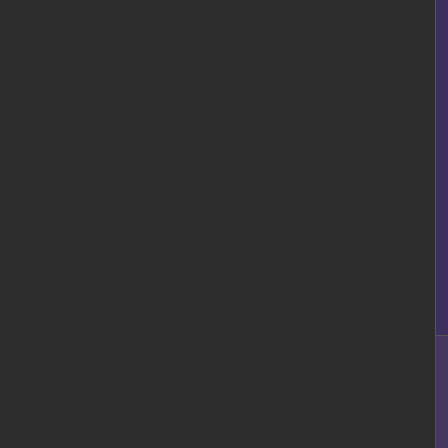[Figure (screenshot): Cropped Wikipedia navigation template showing Coding and Directories sections with links, plus Missing Manual, Wikipedia technical help, and Browser notes rows. Dark purple/blue color scheme.]